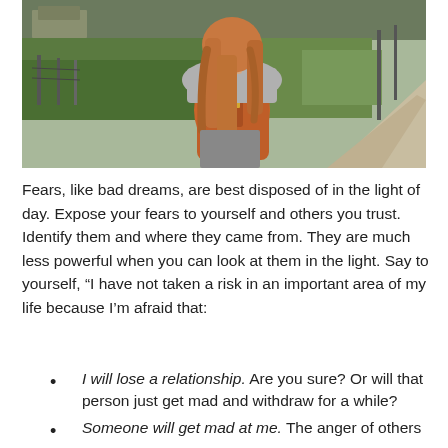[Figure (photo): A young woman with long auburn hair, wearing a grey top and carrying an orange/brown leather backpack, seen from behind, standing in a green countryside landscape with a narrow path on the right and a fence on the left.]
Fears, like bad dreams, are best disposed of in the light of day. Expose your fears to yourself and others you trust. Identify them and where they came from. They are much less powerful when you can look at them in the light. Say to yourself, “I have not taken a risk in an important area of my life because I’m afraid that:
I will lose a relationship. Are you sure? Or will that person just get mad and withdraw for a while?
Someone will get mad at me. The anger of others